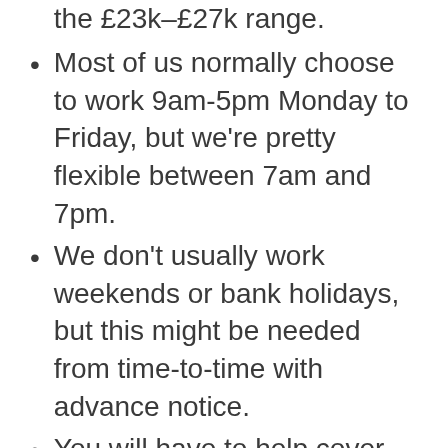the £23k-£27k range.
Most of us normally choose to work 9am-5pm Monday to Friday, but we're pretty flexible between 7am and 7pm.
We don't usually work weekends or bank holidays, but this might be needed from time-to-time with advance notice.
You will have to help cover our on-call engineer rota to handle out-of-hours emergencies for our overseas clients (1 week in 4).